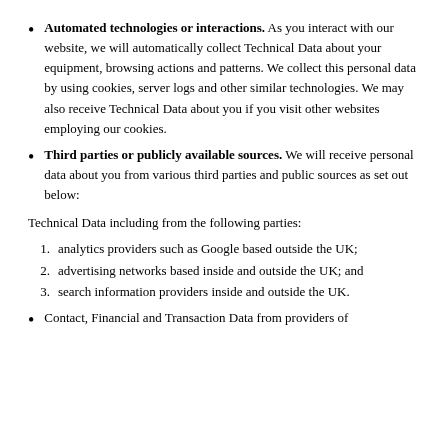Automated technologies or interactions. As you interact with our website, we will automatically collect Technical Data about your equipment, browsing actions and patterns. We collect this personal data by using cookies, server logs and other similar technologies. We may also receive Technical Data about you if you visit other websites employing our cookies.
Third parties or publicly available sources. We will receive personal data about you from various third parties and public sources as set out below:
Technical Data including from the following parties:
analytics providers such as Google based outside the UK;
advertising networks based inside and outside the UK; and
search information providers inside and outside the UK.
Contact, Financial and Transaction Data from providers of